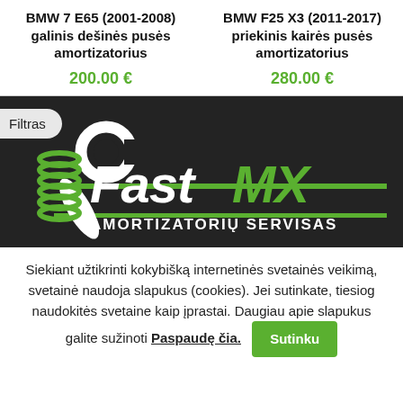BMW 7 E65 (2001-2008) galinis dešinės pusės amortizatorius
200.00 €
BMW F25 X3 (2011-2017) priekinis kairės pusės amortizatorius
280.00 €
[Figure (logo): FastMX Amortizatorių Servisas logo on dark background with wrench and spring graphic. 'Filtras' badge in top left corner.]
Siekiant užtikrinti kokybišką internetinės svetainės veikimą, svetainė naudoja slapukus (cookies). Jei sutinkate, tiesiog naudokitės svetaine kaip įprastai. Daugiau apie slapukus galite sužinoti Paspaudę čia. Sutinku